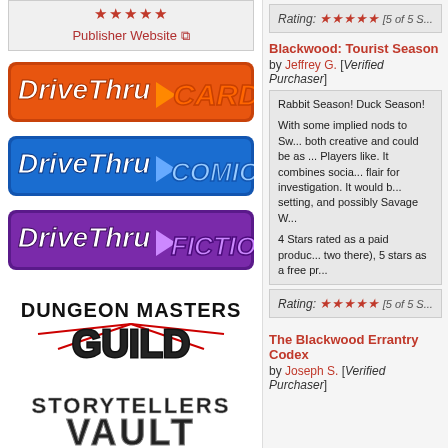[Figure (logo): Publisher Website box with red stars and link, DriveThruCards logo, DriveThruComics logo, DriveThruFiction logo, Dungeon Masters Guild logo, Storytellers Vault logo]
Rating: [5 of 5 S...] (top rating bar)
Blackwood: Tourist Season
by Jeffrey G. [Verified Purchaser]
Rabbit Season! Duck Season!  With some implied nods to Sw... both creative and could be as ... Players like. It combines socia... flair for investigation. It would b... setting, and possibly Savage W...  4 Stars rated as a paid produc... two there), 5 stars as a free pr...
Rating: [5 of 5 S...]
The Blackwood Errantry Codex
by Joseph S. [Verified Purchaser]